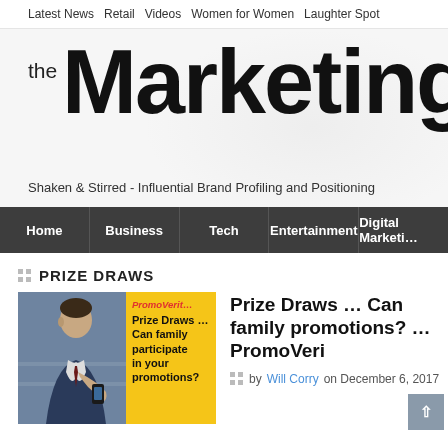Latest News   Retail   Videos   Women for Women   Laughter Spot
the Marketingblog
Shaken & Stirred - Influential Brand Profiling and Positioning
Home   Business   Tech   Entertainment   Digital Marketing
PRIZE DRAWS
[Figure (photo): Man in suit talking on phone beside a yellow PromoVeritas prize draws promotional card reading 'Prize Draws … Can family participate in your promotions?']
Prize Draws … Can family promotions? … PromoVeri
by Will Corry on December 6, 2017